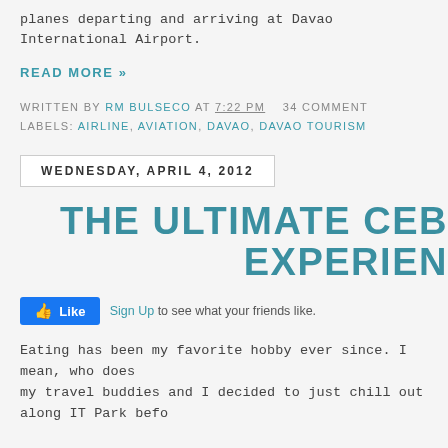planes departing and arriving at Davao International Airport.
READ MORE »
WRITTEN BY RM BULSECO AT 7:22 PM   34 COMMENT
LABELS: AIRLINE, AVIATION, DAVAO, DAVAO TOURISM
WEDNESDAY, APRIL 4, 2012
THE ULTIMATE CEB EXPERIEN
[Figure (screenshot): Facebook Like button widget with Sign Up link and text 'to see what your friends like.']
Eating has been my favorite hobby ever since. I mean, who does my travel buddies and I decided to just chill out along IT Park befo